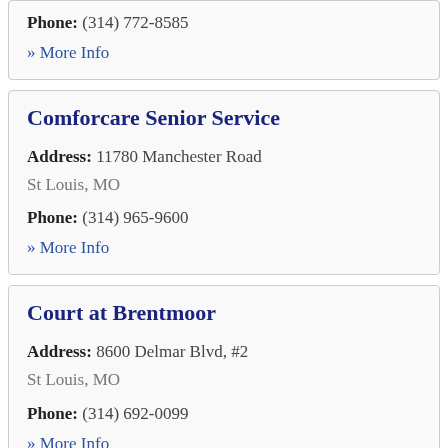Phone: (314) 772-8585
» More Info
Comforcare Senior Service
Address: 11780 Manchester Road
St Louis, MO
Phone: (314) 965-9600
» More Info
Court at Brentmoor
Address: 8600 Delmar Blvd, #2
St Louis, MO
Phone: (314) 692-0099
» More Info